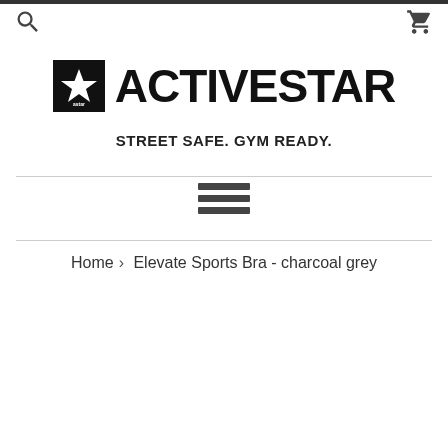ACTIVESTAR - STREET SAFE. GYM READY.
[Figure (logo): ActiveStar logo: black square with star icon and 'astar' text, followed by bold 'ACTIVESTAR' text]
STREET SAFE. GYM READY.
[Figure (other): Hamburger menu icon with three horizontal lines]
Home › Elevate Sports Bra - charcoal grey